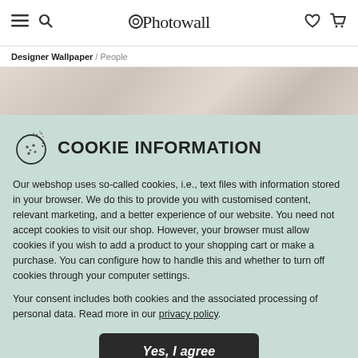Photowall — hamburger, search, heart, cart icons
Designer Wallpaper / People
[Figure (photo): Hero banner with a blurred lifestyle/people wallpaper image strip]
COOKIE INFORMATION
Our webshop uses so-called cookies, i.e., text files with information stored in your browser. We do this to provide you with customised content, relevant marketing, and a better experience of our website. You need not accept cookies to visit our shop. However, your browser must allow cookies if you wish to add a product to your shopping cart or make a purchase. You can configure how to handle this and whether to turn off cookies through your computer settings.
Your consent includes both cookies and the associated processing of personal data. Read more in our privacy policy.
Yes, I agree